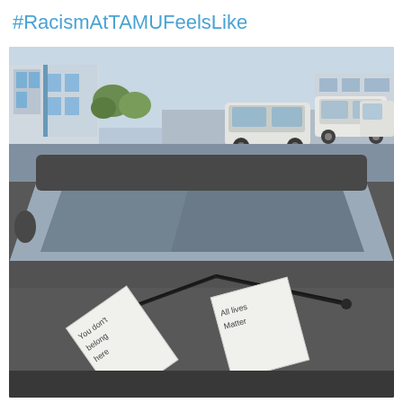#RacismAtTAMUFeelsLike
[Figure (photo): Photograph showing a car windshield with two handwritten notes placed under the wiper blades. The left note reads 'You don't belong here' and the right note reads 'All lives Matter'. The parking lot background shows other vehicles and a building.]